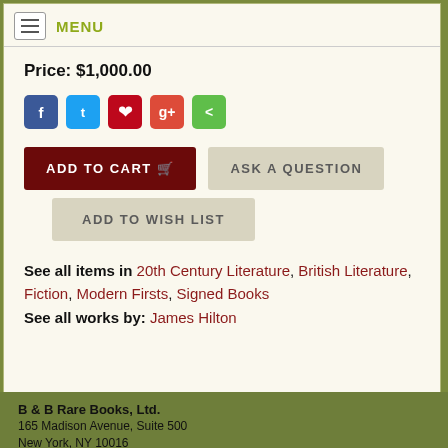MENU
Price: $1,000.00
ADD TO CART | ASK A QUESTION | ADD TO WISH LIST
See all items in 20th Century Literature, British Literature, Fiction, Modern Firsts, Signed Books
See all works by: James Hilton
B & B Rare Books, Ltd.
165 Madison Avenue, Suite 500
New York, NY 10016
(646) 652-6766